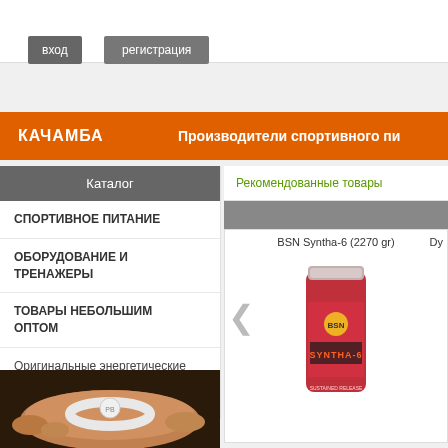вход | регистрация
КАЧАМБА — Производители спортивного пи...
Каталог
СПОРТИВНОЕ ПИТАНИЕ
ОБОРУДОВАНИЕ И ТРЕНАЖЕРЫ
ТОВАРЫ НЕБОЛЬШИМ ОПТОМ
Оригинальные энергетические спортивные браслеты "Power Balance"
Рекомендованные товары
BSN Syntha-6 (2270 gr)
Dy...
[Figure (photo): Photo of BSN Syntha-6 protein powder container (red/pink, 2270g)]
[Figure (photo): Photo of person wearing Power Balance bracelet on wrist]